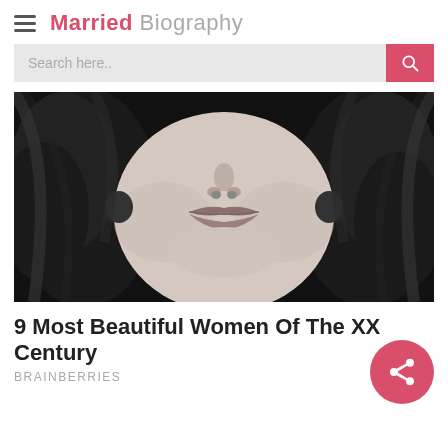Married Biography
[Figure (photo): Black and white close-up photo of a woman's face showing her lower face (nose, lips, and curly dark hair) against a dark background]
9 Most Beautiful Women Of The XX Century
BRAINBERRIES